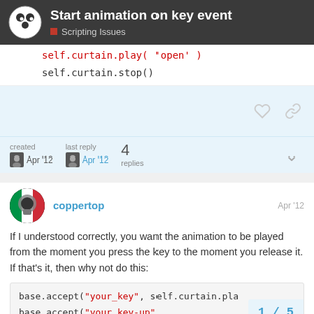Start animation on key event — Scripting Issues
self.curtain.play('open')
self.curtain.stop()
created DS Apr '12   last reply DS Apr '12   4 replies
coppertop  Apr '12
If I understood correctly, you want the animation to be played from the moment you press the key to the moment you release it. If that's it, then why not do this:
base.accept("your_key", self.curtain.pla
base.accept("your_key-up",